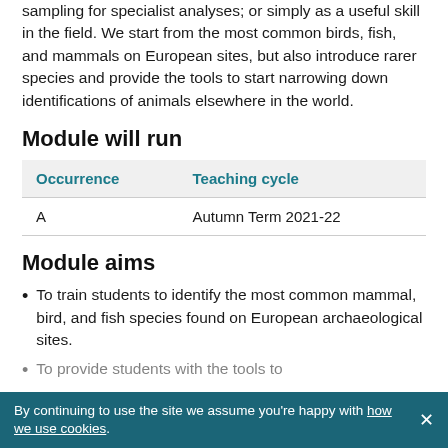sampling for specialist analyses; or simply as a useful skill in the field. We start from the most common birds, fish, and mammals on European sites, but also introduce rarer species and provide the tools to start narrowing down identifications of animals elsewhere in the world.
Module will run
| Occurrence | Teaching cycle |
| --- | --- |
| A | Autumn Term 2021-22 |
Module aims
To train students to identify the most common mammal, bird, and fish species found on European archaeological sites.
To provide students with the tools to...
By continuing to use the site we assume you're happy with how we use cookies.